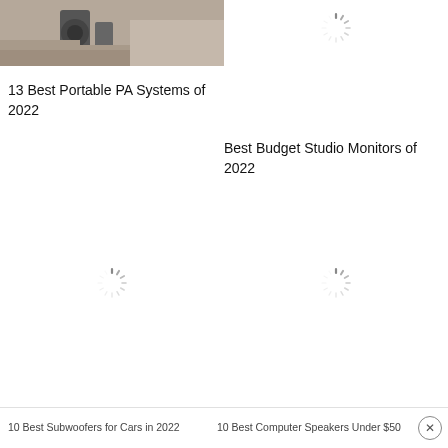[Figure (photo): Photo of portable PA system equipment (speaker/cart) on stairs/outdoor setting]
13 Best Portable PA Systems of 2022
[Figure (other): Loading spinner icon]
[Figure (other): Loading spinner icon (empty area below)]
Best Budget Studio Monitors of 2022
[Figure (other): Loading spinner icon]
[Figure (other): Loading spinner icon]
10 Best Subwoofers for Cars in 2022
10 Best Computer Speakers Under $50